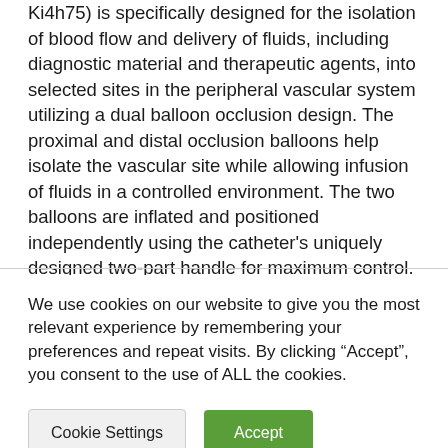Ki4h75) is specifically designed for the isolation of blood flow and delivery of fluids, including diagnostic material and therapeutic agents, into selected sites in the peripheral vascular system utilizing a dual balloon occlusion design. The proximal and distal occlusion balloons help isolate the vascular site while allowing infusion of fluids in a controlled environment. The two balloons are inflated and positioned independently using the catheter's uniquely designed two-part handle for maximum control. The innovative
We use cookies on our website to give you the most relevant experience by remembering your preferences and repeat visits. By clicking “Accept”, you consent to the use of ALL the cookies.